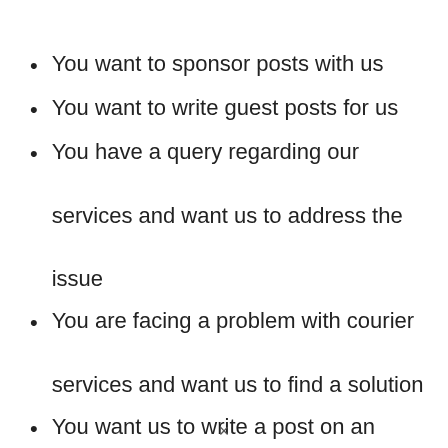You want to sponsor posts with us
You want to write guest posts for us
You have a query regarding our services and want us to address the issue
You are facing a problem with courier services and want us to find a solution
You want us to write a post on an important topic
You saw a post on our website that
×